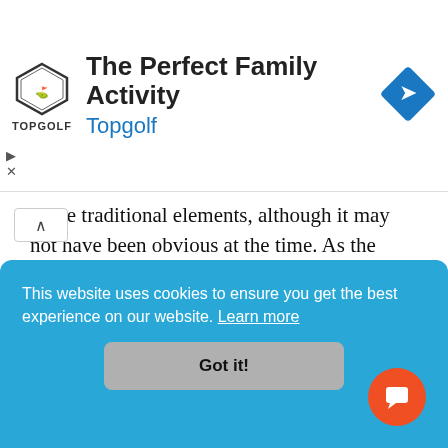[Figure (other): Topgolf advertisement banner with logo, heading 'The Perfect Family Activity', brand name 'Topgolf', and a blue navigation icon on the right]
at the traditional elements, although it may not have been obvious at the time. As the country treads uncharted territory, mostly closed off from the rest of the world, what emerging trends will define the next cycle of Filipino design?
HYBRID, TROPICALIZED ARCHITECTURE
This website uses cookies to ensure you get the best experience on our website. Learn more
Got it!